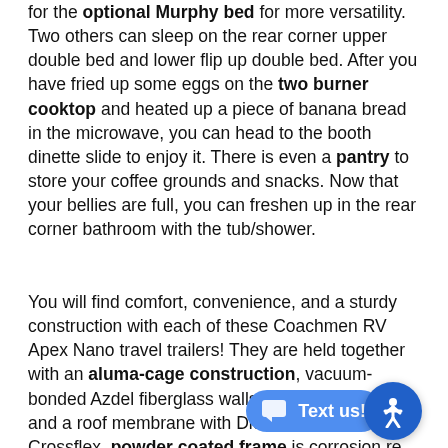for the optional Murphy bed for more versatility. Two others can sleep on the rear corner upper double bed and lower flip up double bed. After you have fried up some eggs on the two burner cooktop and heated up a piece of banana bread in the microwave, you can head to the booth dinette slide to enjoy it. There is even a pantry to store your coffee grounds and snacks. Now that your bellies are full, you can freshen up in the rear corner bathroom with the tub/shower.
You will find comfort, convenience, and a sturdy construction with each of these Coachmen RV Apex Nano travel trailers! They are held together with an aluma-cage construction, vacuum-bonded Azdel fiberglass walls, an I-beam chassis, and a roof membrane with Dicor Crossflex, powder coated frame is corrosion re... Dexter E-Z lube axles and nitrogen filled radial tires